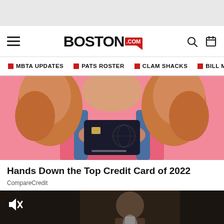[Figure (screenshot): Grey advertisement banner at top of page]
Boston.com — navigation header with hamburger menu, Boston.com logo, search and calendar icons
MBTA UPDATES  PATS ROSTER  CLAM SHACKS  BILL MURR
[Figure (photo): Woman with curly red hair holding a black credit card in front of her face, wearing a pink shirt and blue overalls, against a pink background]
Hands Down the Top Credit Card of 2022
CompareCredit
[Figure (screenshot): Video thumbnail showing dark background with a muted speaker icon and partial image of a person]